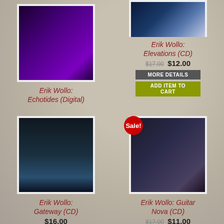[Figure (photo): Erik Wollo: Elevations CD album cover (partial, top of page) - dark stormy sea/wave image]
Erik Wollo: Elevations (CD)
$17.00 $12.00
MORE DETAILS
ADD ITEM TO CART
[Figure (photo): Erik Wollo: Echotides Digital album cover - purple swirling abstract art]
Erik Wollo: Echotides (Digital)
[Figure (photo): Erik Wollo: Guitar Nova CD album cover - dark blue with golden/orange violin image]
Sale!
Erik Wollo: Guitar Nova (CD)
$17.00 $11.00
MORE DETAILS
ADD ITEM TO
[Figure (photo): Erik Wollo: Gateway CD album cover - dark monolith/obelisk structure lit from below]
Erik Wollo: Gateway (CD)
$16.00
MORE DETAILS
ADD ITEM TO